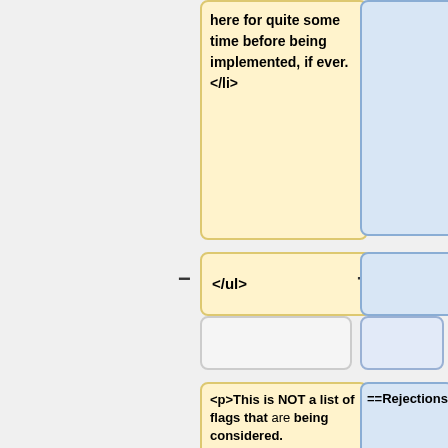here for quite some time before being implemented, if ever.</li>
</ul>
==Rejections==
<p>This is NOT a list of flags that are being considered. Discussion/implementation of these is encouraged, but does not mean any of these flags are going into the game.</p><br>